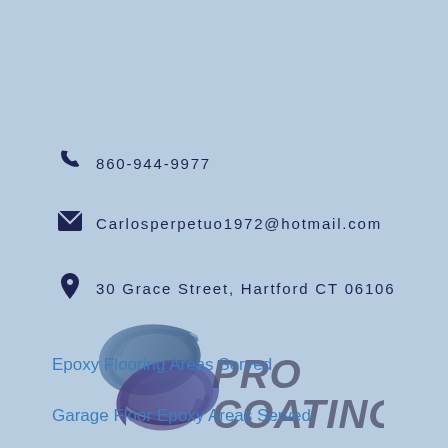860-944-9977
Carlosperpetuo1972@hotmail.com
30 Grace Street, Hartford CT 06106
[Figure (logo): Pro Coating logo with stylized S-shaped swirl graphic in blue/purple gradient and bold italic text reading PRO COATING]
Epoxy Flooring Areas Served
Garage Floor Epoxy Areas Served